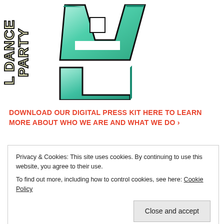[Figure (illustration): Partial view of a logo/banner with vertical text reading 'DANCE PARTY' rotated sideways on the left, and large 3D teal/mint colored letters on the right against a white background. The letters appear to spell part of a word with a square hole in the letter 'A'.]
DOWNLOAD OUR DIGITAL PRESS KIT HERE TO LEARN MORE ABOUT WHO WE ARE AND WHAT WE DO ›
Privacy & Cookies: This site uses cookies. By continuing to use this website, you agree to their use.
To find out more, including how to control cookies, see here: Cookie Policy